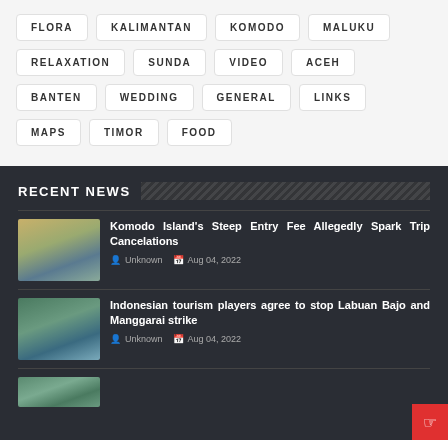FLORA
KALIMANTAN
KOMODO
MALUKU
RELAXATION
SUNDA
VIDEO
ACEH
BANTEN
WEDDING
GENERAL
LINKS
MAPS
TIMOR
FOOD
RECENT NEWS
[Figure (photo): Aerial/crowd view of Komodo Island coastline]
Komodo Island's Steep Entry Fee Allegedly Spark Trip Cancelations
Unknown  Aug 04, 2022
[Figure (photo): Scenic view of Labuan Bajo bay with islands]
Indonesian tourism players agree to stop Labuan Bajo and Manggarai strike
Unknown  Aug 04, 2022